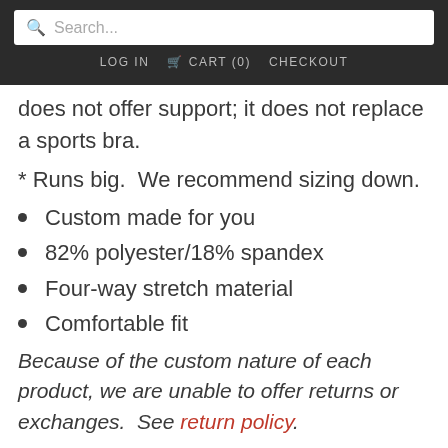Search... | LOG IN  CART (0)  CHECKOUT
does not offer support; it does not replace a sports bra.
* Runs big.  We recommend sizing down.
Custom made for you
82% polyester/18% spandex
Four-way stretch material
Comfortable fit
Because of the custom nature of each product, we are unable to offer returns or exchanges.  See return policy.